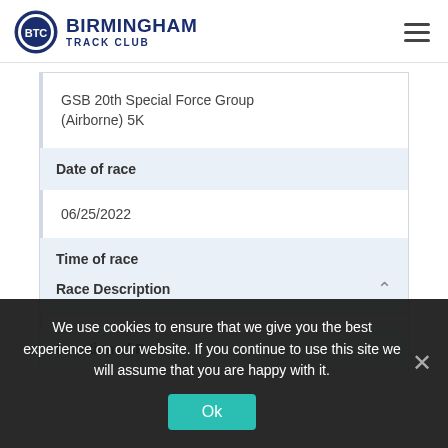Birmingham Track Club
| GSB 20th Special Force Group (Airborne) 5K |
| Date of race |
| 06/25/2022 |
| Time of race |
| 09:00 am |
| Location of Race |
Race Description
We use cookies to ensure that we give you the best experience on our website. If you continue to use this site we will assume that you are happy with it.